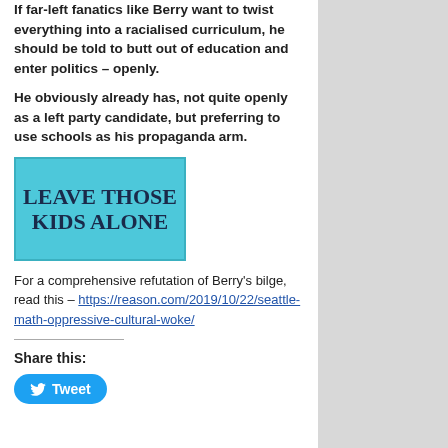If far-left fanatics like Berry want to twist everything into a racialised curriculum, he should be told to butt out of education and enter politics – openly.
He obviously already has, not quite openly as a left party candidate, but preferring to use schools as his propaganda arm.
[Figure (illustration): Cyan/teal colored box with bold text reading LEAVE THOSE KIDS ALONE]
For a comprehensive refutation of Berry's bilge, read this – https://reason.com/2019/10/22/seattle-math-oppressive-cultural-woke/
Share this:
Tweet